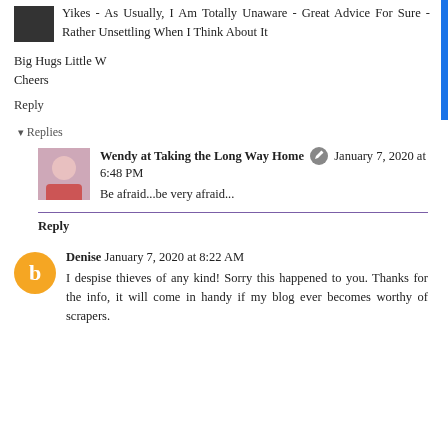Yikes - As Usually, I Am Totally Unaware - Great Advice For Sure - Rather Unsettling When I Think About It
Big Hugs Little W
Cheers
Reply
Replies
Wendy at Taking the Long Way Home  January 7, 2020 at 6:48 PM
Be afraid...be very afraid...
Reply
Denise  January 7, 2020 at 8:22 AM
I despise thieves of any kind! Sorry this happened to you. Thanks for the info, it will come in handy if my blog ever becomes worthy of scrapers.